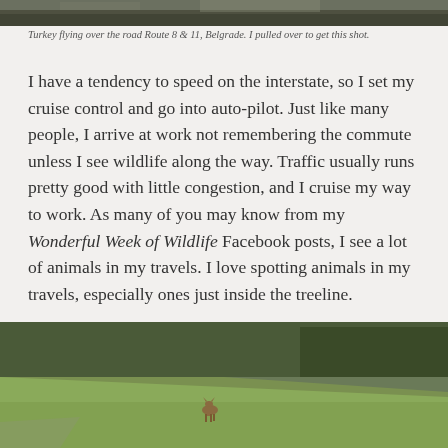[Figure (photo): Top portion of a photo showing a turkey flying over a road, partially cropped at top of page]
Turkey flying over the road Route 8 & 11, Belgrade. I pulled over to get this shot.
I have a tendency to speed on the interstate, so I set my cruise control and go into auto-pilot. Just like many people, I arrive at work not remembering the commute unless I see wildlife along the way. Traffic usually runs pretty good with little congestion, and I cruise my way to work. As many of you may know from my Wonderful Week of Wildlife Facebook posts, I see a lot of animals in my travels. I love spotting animals in my travels, especially ones just inside the treeline.
[Figure (photo): A deer standing in a grassy field with trees in the background, roadside wildlife photo]